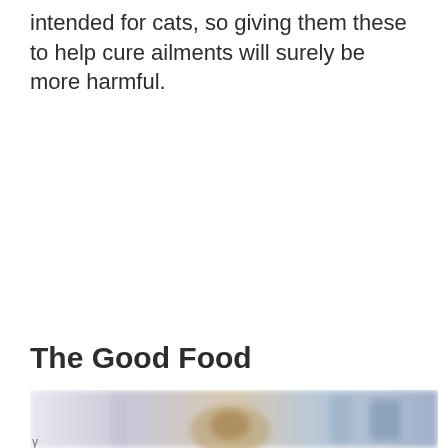intended for cats, so giving them these to help cure ailments will surely be more harmful.
The Good Food
[Figure (photo): A blurred photo showing a cat and some objects in the background, likely depicting cat food or related items.]